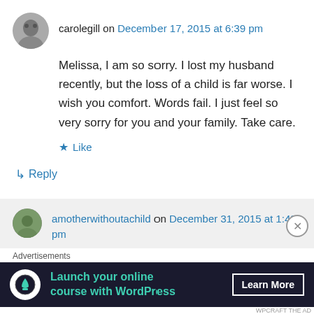carolegill on December 17, 2015 at 6:39 pm
Melissa, I am so sorry. I lost my husband recently, but the loss of a child is far worse. I wish you comfort. Words fail. I just feel so very sorry for you and your family. Take care.
★ Like
↳ Reply
amotherwithoutachild on December 31, 2015 at 1:43 pm
Advertisements
[Figure (screenshot): Advertisement banner: Launch your online course with WordPress — Learn More button]